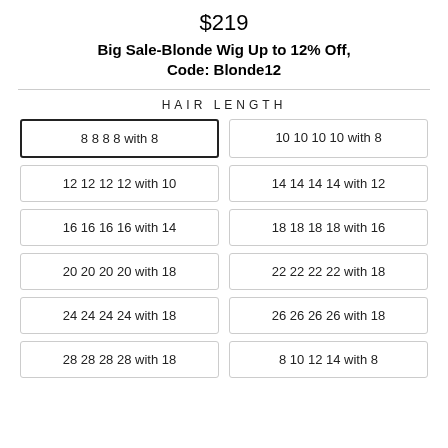$219
Big Sale-Blonde Wig Up to 12% Off, Code: Blonde12
HAIR LENGTH
8 8 8 8 with 8
10 10 10 10 with 8
12 12 12 12 with 10
14 14 14 14 with 12
16 16 16 16 with 14
18 18 18 18 with 16
20 20 20 20 with 18
22 22 22 22 with 18
24 24 24 24 with 18
26 26 26 26 with 18
28 28 28 28 with 18
8 10 12 14 with 8